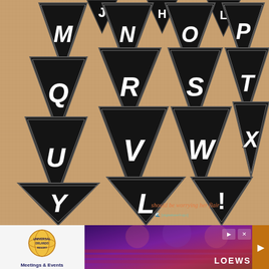[Figure (photo): Decorative black pennant/bunting flags with white chalk-style letters arranged on a burlap background. Visible letters include M, N, O, P, Q, R, S, T, U, V, W, X, Y, Z, L, ! and partial letters J, H, L at top. Each triangular pennant is black with white hand-lettered alphabet characters. A watermark reads 'should be worrying her flair' in orange cursive.]
[Figure (photo): Universal Orlando Resort Meetings & Events advertisement banner. Left side shows Universal globe logo with 'Meetings & Events' text. Right side shows an auditorium/event venue photo with 'LOEWS' branding, purple and red lighting, and a forward arrow button.]